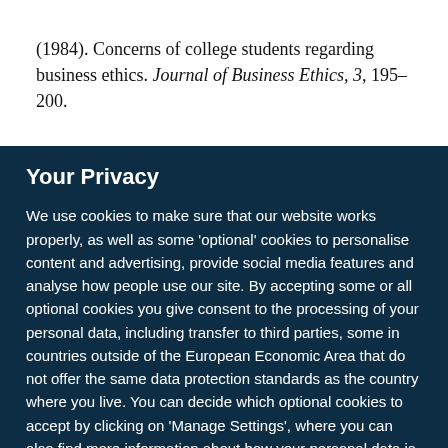(1984). Concerns of college students regarding business ethics. Journal of Business Ethics, 3, 195–200.
Your Privacy
We use cookies to make sure that our website works properly, as well as some 'optional' cookies to personalise content and advertising, provide social media features and analyse how people use our site. By accepting some or all optional cookies you give consent to the processing of your personal data, including transfer to third parties, some in countries outside of the European Economic Area that do not offer the same data protection standards as the country where you live. You can decide which optional cookies to accept by clicking on 'Manage Settings', where you can also find more information about how your personal data is processed. Further information can be found in our privacy policy.
Accept all cookies
Manage preferences